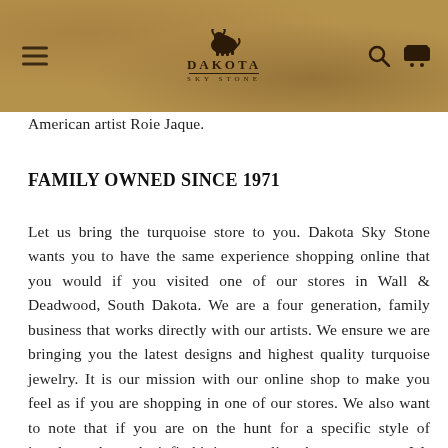Dakota Sky Stone
American artist Roie Jaque.
FAMILY OWNED SINCE 1971
Let us bring the turquoise store to you. Dakota Sky Stone wants you to have the same experience shopping online that you would if you visited one of our stores in Wall & Deadwood, South Dakota. We are a four generation, family business that works directly with our artists. We ensure we are bringing you the latest designs and highest quality turquoise jewelry. It is our mission with our online shop to make you feel as if you are shopping in one of our stores. We also want to note that if you are on the hunt for a specific style of jewelry and you don't find it in our online shop, contact us. We can check our stores and see if we have what